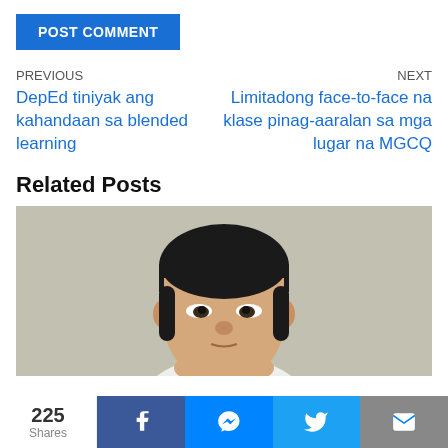POST COMMENT
PREVIOUS
DepEd tiniyak ang kahandaan sa blended learning
NEXT
Limitadong face-to-face na klase pinag-aaralan sa mga lugar na MGCQ
Related Posts
[Figure (photo): Portrait photo of an Asian man in a white shirt against a light grey background]
225 Shares